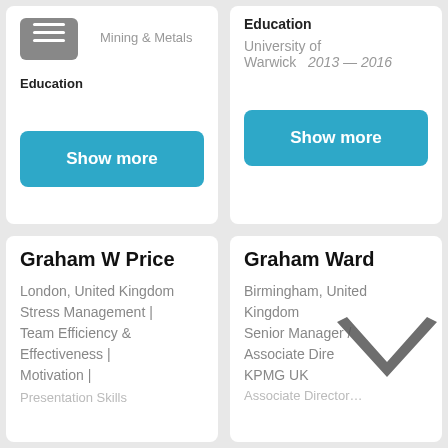Mining & Metals
Education
Show more
Education
University of Warwick  2013 — 2016
Show more
Graham W Price
London, United Kingdom
Stress Management | Team Efficiency & Effectiveness | Motivation |
Graham Ward
Birmingham, United Kingdom
Senior Manager / Associate Director at KPMG UK